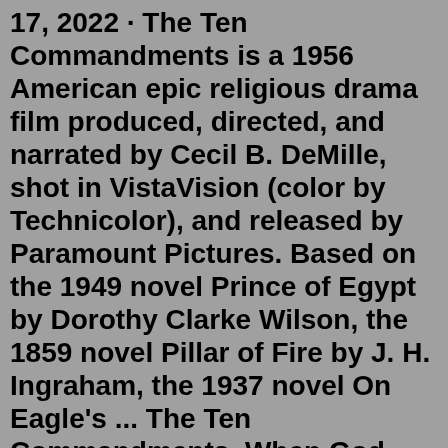17, 2022 · The Ten Commandments is a 1956 American epic religious drama film produced, directed, and narrated by Cecil B. DeMille, shot in VistaVision (color by Technicolor), and released by Paramount Pictures. Based on the 1949 novel Prince of Egypt by Dorothy Clarke Wilson, the 1859 novel Pillar of Fire by J. H. Ingraham, the 1937 novel On Eagle's ... The Ten Commandments. When God spoke to Moses on Mt Sinai in c1446BC, he gave Moses a set of ten guidelines by which the Israelites could live their lives in a way pleasing to God. These guidelines formed part of the solemn covenant agreement (or 'testament') between the Israelites and God (also known as 'The Law' or 'The Law of MosesLOS ANGELES, CA (California Network) - The Book of Exodus tells us what happened when Moses crossed into the Sinai. God called Moses to Mount Sinai where He presented him with the Ten Commandments. Moses returned to the Israelites only to find them worshipping the golden calf. In his anger, Moses smashed the tablets, which were later